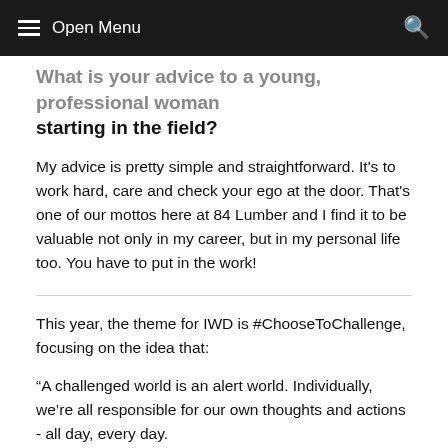Open Menu
What is your advice to a young, professional woman starting in the field?
My advice is pretty simple and straightforward. It's to work hard, care and check your ego at the door. That's one of our mottos here at 84 Lumber and I find it to be valuable not only in my career, but in my personal life too. You have to put in the work!
This year, the theme for IWD is #ChooseToChallenge, focusing on the idea that:
“A challenged world is an alert world. Individually, we’re all responsible for our own thoughts and actions - all day, every day.